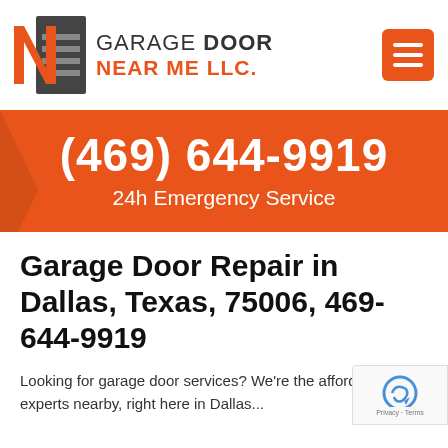[Figure (logo): Garage Door Near Me LLC logo with stylized N and door icon in orange and dark grey]
(469) 644-9919
24h Emergency Service
Garage Door Repair in Dallas, Texas, 75006, 469-644-9919
Looking for garage door services? We're the affordable experts nearby, right here in Dallas...